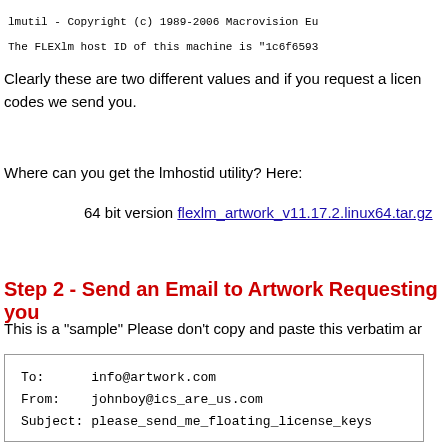lmutil - Copyright (c) 1989-2006 Macrovision Eu
The FLEXlm host ID of this machine is "1c6f6593
Clearly these are two different values and if you request a licen codes we send you.
Where can you get the lmhostid utility? Here:
64 bit version flexlm_artwork_v11.17.2.linux64.tar.gz
Step 2 - Send an Email to Artwork Requesting you
This is a "sample" Please don't copy and paste this verbatim ar
To:      info@artwork.com
From:    johnboy@ics_are_us.com
Subject: please_send_me_floating_license_keys